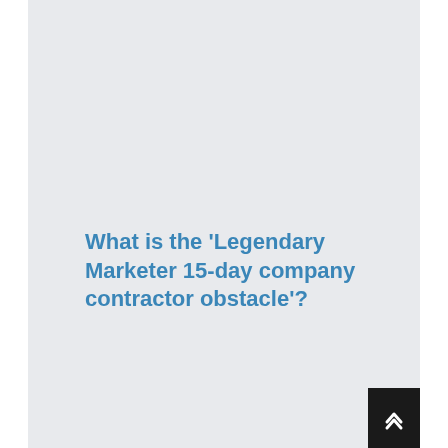What is the 'Legendary Marketer 15-day company contractor obstacle'?